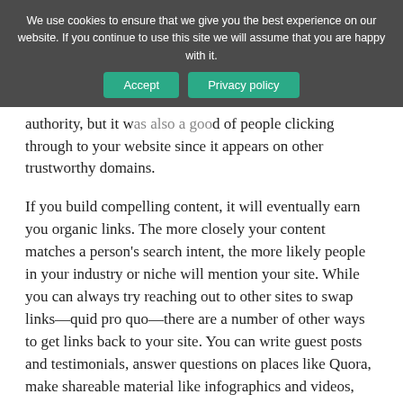[Figure (screenshot): Cookie consent banner overlay with 'Accept' and 'Privacy policy' buttons on dark semi-transparent background]
authority, but it was also a good of people clicking through to your website since it appears on other trustworthy domains.
If you build compelling content, it will eventually earn you organic links. The more closely your content matches a person's search intent, the more likely people in your industry or niche will mention your site. While you can always try reaching out to other sites to swap links—quid pro quo—there are a number of other ways to get links back to your site. You can write guest posts and testimonials, answer questions on places like Quora, make shareable material like infographics and videos, and post on social media.
Learn On-Page and Technical